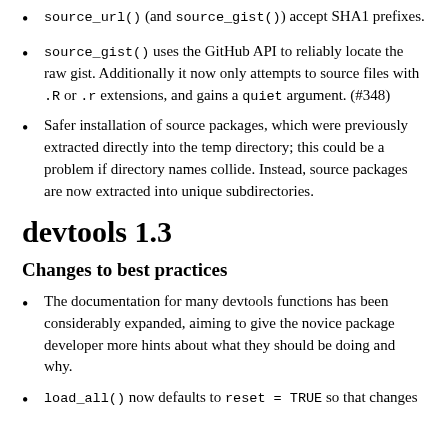source_url() (and source_gist()) accept SHA1 prefixes.
source_gist() uses the GitHub API to reliably locate the raw gist. Additionally it now only attempts to source files with .R or .r extensions, and gains a quiet argument. (#348)
Safer installation of source packages, which were previously extracted directly into the temp directory; this could be a problem if directory names collide. Instead, source packages are now extracted into unique subdirectories.
devtools 1.3
Changes to best practices
The documentation for many devtools functions has been considerably expanded, aiming to give the novice package developer more hints about what they should be doing and why.
load_all() now defaults to reset = TRUE so that changes